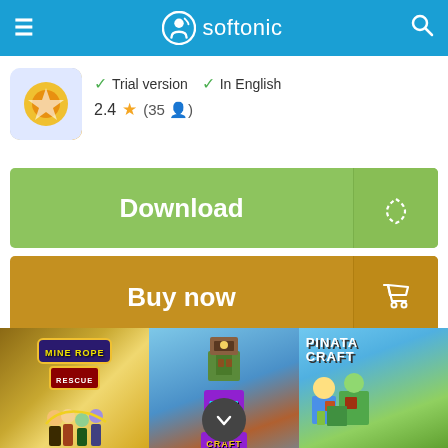softonic
Trial version   In English
2.4 ★ (35)
Download
Buy now
Softonic review
HP Driver Updates Scanner - Update your HP device r easily and
[Figure (screenshot): Ad banner showing three mobile games: Mine Rope Rescue, Super Run Craft, and Pinata Craft]